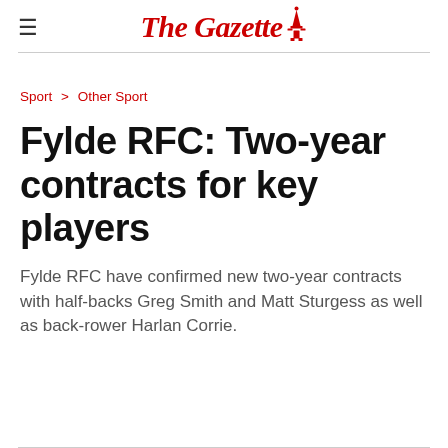The Gazette
Sport > Other Sport
Fylde RFC: Two-year contracts for key players
Fylde RFC have confirmed new two-year contracts with half-backs Greg Smith and Matt Sturgess as well as back-rower Harlan Corrie.